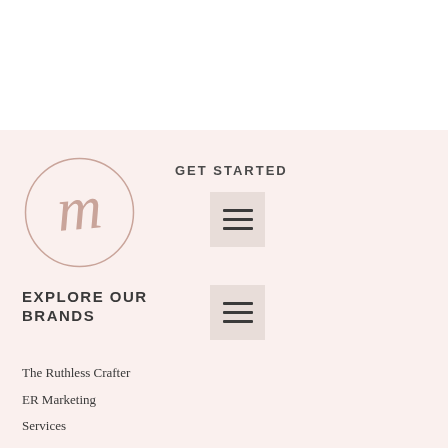[Figure (logo): Circular logo with stylized cursive letter M in muted rose/mauve color on light pink background]
GET STARTED
[Figure (other): Hamburger menu icon (three horizontal lines) on beige/rose background]
EXPLORE OUR BRANDS
[Figure (other): Hamburger menu icon (three horizontal lines) on beige/rose background]
The Ruthless Crafter
ER Marketing
Services